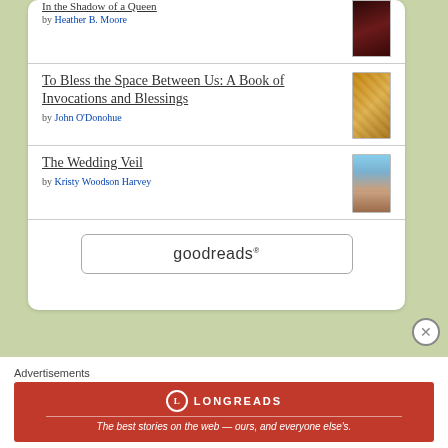In the Shadow of a Queen by Heather B. Moore
To Bless the Space Between Us: A Book of Invocations and Blessings by John O'Donohue
The Wedding Veil by Kristy Woodson Harvey
[Figure (logo): goodreads button/logo with rounded rectangle border]
Advertisements
[Figure (infographic): Longreads ad banner in red: The best stories on the web — ours, and everyone else's.]